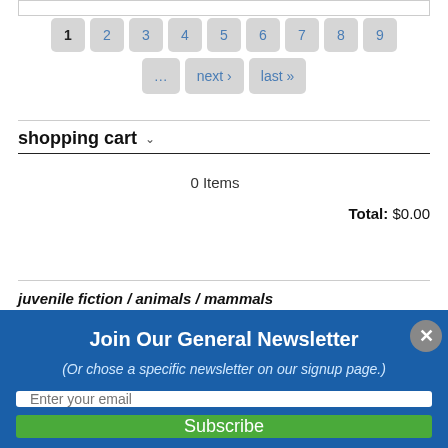[Figure (screenshot): Pagination controls showing page buttons 1-9, ellipsis, next, and last navigation buttons]
shopping cart
0 Items
Total: $0.00
juvenile fiction / animals / mammals
Join Our General Newsletter
(Or chose a specific newsletter on our signup page.)
Enter your email
Subscribe